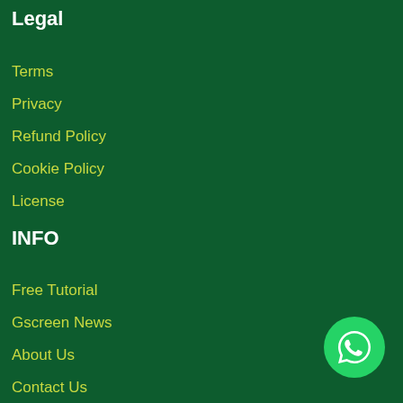Legal
Terms
Privacy
Refund Policy
Cookie Policy
License
INFO
Free Tutorial
Gscreen News
About Us
Contact Us
[Figure (illustration): WhatsApp contact button icon — circular green button with white WhatsApp phone/chat logo]